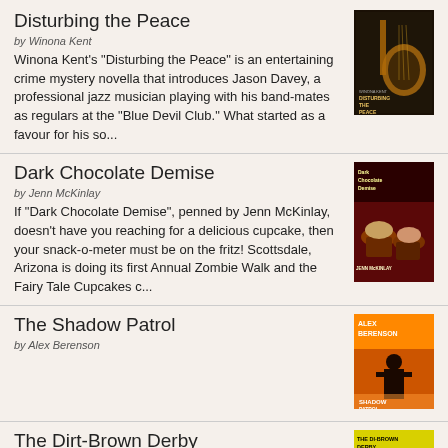Disturbing the Peace
by Winona Kent
Winona Kent's "Disturbing the Peace" is an entertaining crime mystery novella that introduces Jason Davey, a professional jazz musician playing with his band-mates as regulars at the "Blue Devil Club." What started as a favour for his so...
[Figure (photo): Book cover of Disturbing the Peace by Winona Kent, dark background with guitar image]
Dark Chocolate Demise
by Jenn McKinlay
If "Dark Chocolate Demise", penned by Jenn McKinlay, doesn't have you reaching for a delicious cupcake, then your snack-o-meter must be on the fritz! Scottsdale, Arizona is doing its first Annual Zombie Walk and the Fairy Tale Cupcakes c...
[Figure (photo): Book cover of Dark Chocolate Demise by Jenn McKinlay, dark red background with cupcakes]
The Shadow Patrol
by Alex Berenson
[Figure (photo): Book cover of The Shadow Patrol by Alex Berenson, orange background with silhouette]
The Dirt-Brown Derby
by Ed Lynskey
The death of a young sixteen year old, allegedly trampled by her beloved stallion, Hellbent, has suspects popping